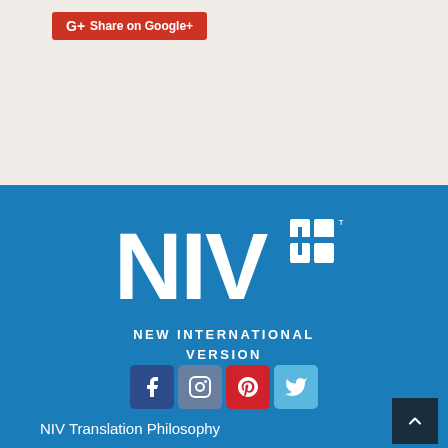[Figure (logo): Google+ Share on Google+ button (red rounded rectangle with G+ icon and text)]
[Figure (logo): NIV (New International Version) logo — large white NIV letters with a blue cross/grid icon and TM mark, followed by subtitle NEW INTERNATIONAL VERSION in white capital letters, on a blue background]
[Figure (infographic): Row of four social media icon buttons: Facebook (dark blue), Instagram (gray-blue), Pinterest (red), Twitter (light blue)]
NIV Translation Philosophy